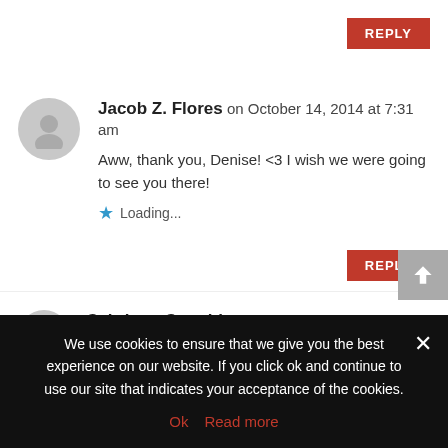REPLY
Jacob Z. Flores on October 14, 2014 at 7:31 am
Aww, thank you, Denise! <3 I wish we were going to see you there!
Loading...
REPLY
Caitriona Coughlan on October 13, 2014 at 3:14 pm
I really enjoyed the book and this interview was so
We use cookies to ensure that we give you the best experience on our website. If you click ok and continue to use our site that indicates your acceptance of the cookies.
Ok   Read more